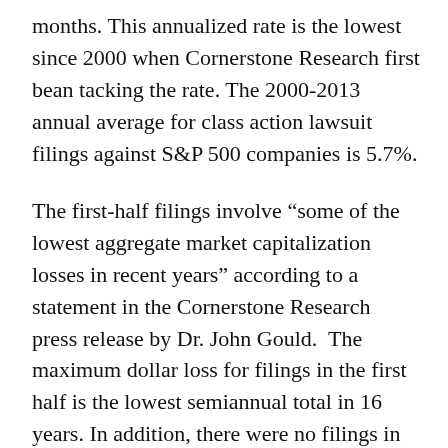months. This annualized rate is the lowest since 2000 when Cornerstone Research first bean tacking the rate. The 2000-2013 annual average for class action lawsuit filings against S&P 500 companies is 5.7%.
The first-half filings involve “some of the lowest aggregate market capitalization losses in recent years” according to a statement in the Cornerstone Research press release by Dr. John Gould.  The maximum dollar loss for filings in the first half is the lowest semiannual total in 16 years. In addition, there were no filings in the year’s first six months involving maximum dollar losses over $10 billion, the first time that has happened in a semiannual period since the second half of 1997. Obviously, the absence of the mega cases could have an impact on settlement levels as these 2014 cases work their way toward